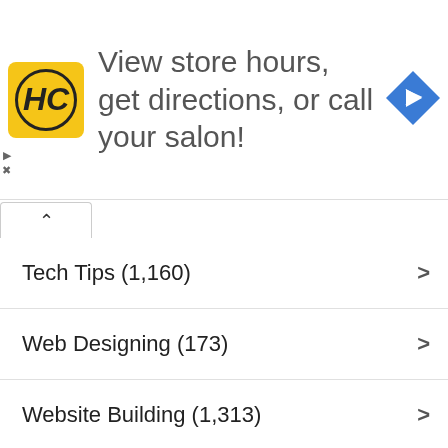[Figure (infographic): Advertisement banner with HC logo and text: View store hours, get directions, or call your salon! with a blue navigation arrow icon]
Tech Tips (1,160)
Web Designing (173)
Website Building (1,313)
Weebly (239)
Windows (376)
WordPress (564)